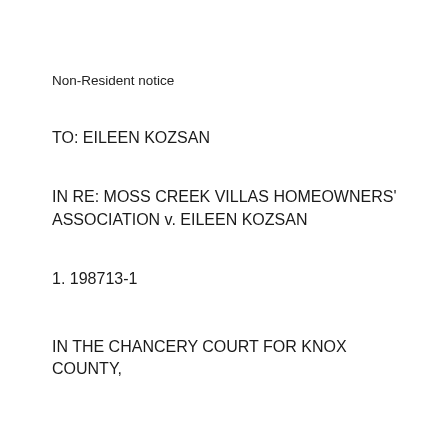Non-Resident notice
TO: EILEEN KOZSAN
IN RE: MOSS CREEK VILLAS HOMEOWNERS' ASSOCIATION v. EILEEN KOZSAN
1. 198713-1
IN THE CHANCERY COURT FOR KNOX COUNTY,